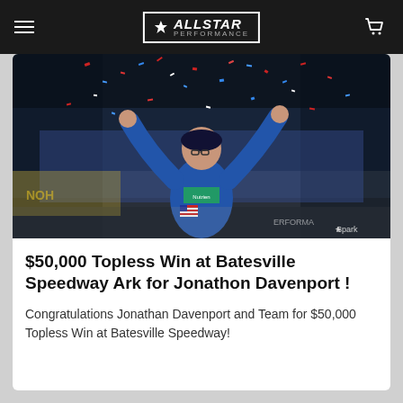ALLSTAR PERFORMANCE (navigation bar)
[Figure (photo): Racing driver in blue Nutrien Ag Solutions suit celebrating a win with arms raised, confetti falling, at Batesville Speedway. Photo credit: Spark.]
$50,000 Topless Win at Batesville Speedway Ark for Jonathon Davenport !
Congratulations Jonathan Davenport and Team for $50,000 Topless Win at Batesville Speedway!